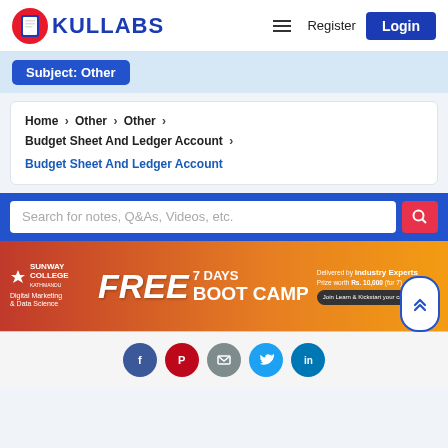[Figure (logo): KulLabs logo with book icon and blue text]
Register
Login
Subject: Other
Home › Other › Other › Budget Sheet And Ledger Account › Budget Sheet And Ledger Account
Search for notes, Q&As, Videos, etc.
[Figure (infographic): Sunway College advertisement banner: FREE 7 DAYS BOOT CAMP, Digital Marketing & Data Science, Delivered by Industry Experts, Prize worth Rs. 10,000 (for 7), Join Learn & Kickstart your career]
[Figure (other): Social media share icons: Facebook, Pinterest, Email, Twitter, LinkedIn]